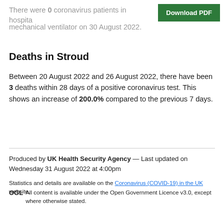There were 0 coronavirus patients in hospital on a mechanical ventilator on 30 August 2022.
Deaths in Stroud
Between 20 August 2022 and 26 August 2022, there have been 3 deaths within 28 days of a positive coronavirus test. This shows an increase of 200.0% compared to the previous 7 days.
Produced by UK Health Security Agency — Last updated on Wednesday 31 August 2022 at 4:00pm
Statistics and details are available on the Coronavirus (COVID-19) in the UK website. OGL All content is available under the Open Government Licence v3.0, except where otherwise stated.